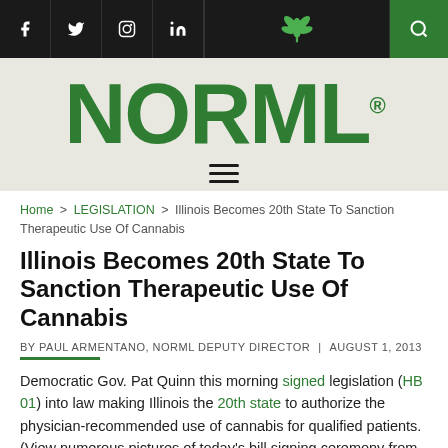[Figure (other): NORML website header with black navigation bar containing social media icons (Facebook, Twitter, Instagram, LinkedIn), a green cannabis leaf icon in the center, and a green search icon on the right.]
[Figure (logo): NORML logo in large bold green capital letters with registered trademark symbol on a light gray-green background, with a hamburger menu icon below.]
Home > LEGISLATION > Illinois Becomes 20th State To Sanction Therapeutic Use Of Cannabis
Illinois Becomes 20th State To Sanction Therapeutic Use Of Cannabis
BY PAUL ARMENTANO, NORML DEPUTY DIRECTOR | AUGUST 1, 2013
Democratic Gov. Pat Quinn this morning signed legislation (HB 01) into law making Illinois the 20th state to authorize the physician-recommended use of cannabis for qualified patients. (View numerous pictures of today's bill signing ceremony from Illinois NORML here.)